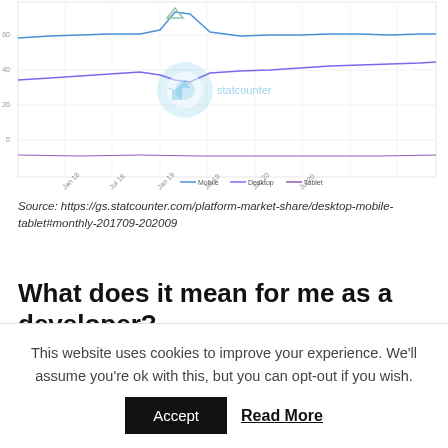[Figure (continuous-plot): Cropped statcounter line chart showing platform market share (Mobile, Desktop, Tablet) over time approximately 2017-2020. Three lines visible: blue (Desktop) near top, purple/violet (Mobile) rising from mid area, and a lower flat line (Tablet). Statcounter watermark logo visible in center.]
Source: https://gs.statcounter.com/platform-market-share/desktop-mobile-tablet#monthly-201709-202009
What does it mean for me as a developer?
It means Android (and also iOS) are a key platform and technical asset to target to expand
This website uses cookies to improve your experience. We'll assume you're ok with this, but you can opt-out if you wish.